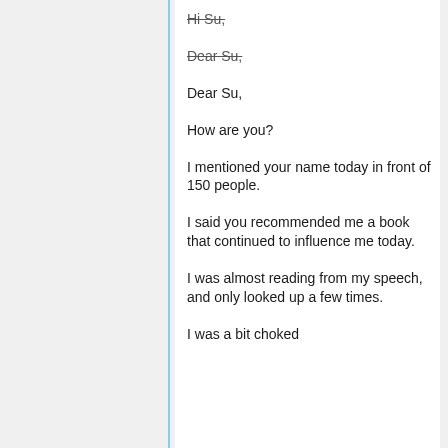Hi Su,
Dear Su,
Dear Su,
How are you?
I mentioned your name today in front of 150 people.
I said you recommended me a book that continued to influence me today.
I was almost reading from my speech, and only looked up a few times.
I was a bit choked